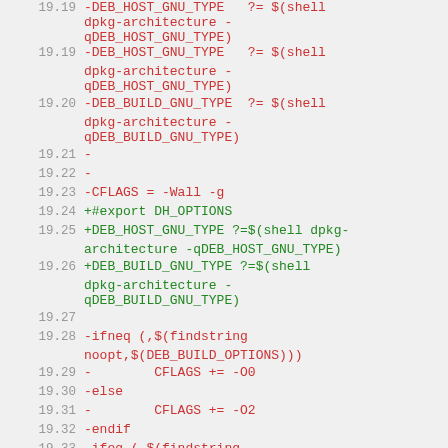Diff/patch code listing lines 19.19 through 19.37
19.19  -DEB_HOST_GNU_TYPE   ?= $(shell dpkg-architecture -qDEB_HOST_GNU_TYPE)
19.20  -DEB_BUILD_GNU_TYPE  ?= $(shell dpkg-architecture -qDEB_BUILD_GNU_TYPE)
19.21  -
19.22  -
19.23  -CFLAGS = -Wall -g
19.24  +#export DH_OPTIONS
19.25  +DEB_HOST_GNU_TYPE ?=$(shell dpkg-architecture -qDEB_HOST_GNU_TYPE)
19.26  +DEB_BUILD_GNU_TYPE ?=$(shell dpkg-architecture -qDEB_BUILD_GNU_TYPE)
19.27  (empty)
19.28  -ifneq (,$(findstring noopt,$(DEB_BUILD_OPTIONS)))
19.29  -        CFLAGS += -O0
19.30  -else
19.31  -        CFLAGS += -O2
19.32  -endif
19.33  -ifeq (,$(findstring nostrip,$(DEB_BUILD_OPTIONS)))
19.34  -        INSTALL_PROGRAM += -s
19.35  +STRIP =strip
19.36  +ifneq (,$(findstring nostrip,$(DEB_BUILD_OPTIONS)))
19.37  +   STRIP =: nostrip